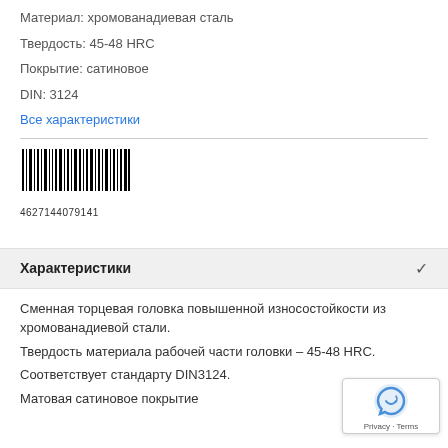Материал: хромованадиевая сталь
Твердость: 45-48 HRC
Покрытие: сатиновое
DIN: 3124
Все характеристики
[Figure (other): Barcode with number 4627144079141]
Характеристики
Сменная торцевая головка повышенной износостойкости из хромованадиевой стали.
Твердость материала рабочей части головки – 45-48 HRC.
Соответствует стандарту DIN3124.
Матовая сатиновое покрытие